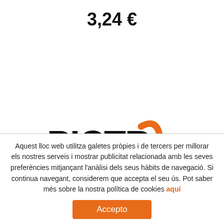3,24 €
[Figure (logo): PICTR3S logo — the text PICTR in bold black sans-serif, followed by an orange stylized '3' shape, then 's' in black.]
Aquest lloc web utilitza galetes pròpies i de tercers per millorar els nostres serveis i mostrar publicitat relacionada amb les seves preferències mitjançant l'anàlisi dels seus hàbits de navegació. Si continua navegant, considerem que accepta el seu ús. Pot saber més sobre la nostra política de cookies aquí
Accepto